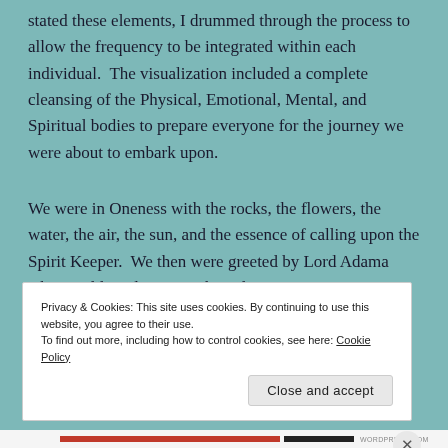stated these elements, I drummed through the process to allow the frequency to be integrated within each individual.  The visualization included a complete cleansing of the Physical, Emotional, Mental, and Spiritual bodies to prepare everyone for the journey we were about to embark upon.
We were in Oneness with the rocks, the flowers, the water, the air, the sun, and the essence of calling upon the Spirit Keeper.  We then were greeted by Lord Adama who would guide us into the Telosian energies.  We entered the portal of light in the river
Privacy & Cookies: This site uses cookies. By continuing to use this website, you agree to their use.
To find out more, including how to control cookies, see here: Cookie Policy